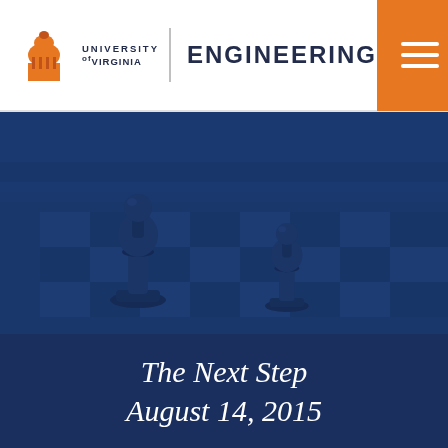University of Virginia Engineering
[Figure (photo): Blue-tinted photograph of chess pawns on a chess board, with a dark blue overlay. Two prominent chess pawns visible — one larger on the left, one smaller in the center-right.]
The Next Step
August 14, 2015